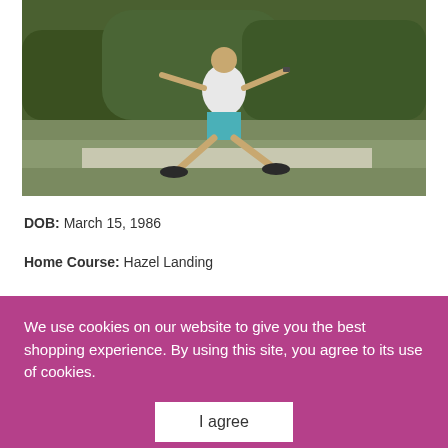[Figure (photo): Person wearing white t-shirt and teal/blue plaid shorts throwing a disc (frisbee/disc golf) on a grassy area with trees in the background. Person is mid-throw with legs spread wide.]
DOB: March 15, 1986
Home Course: Hazel Landing
Favorite thing about disc golf: ... able to ... focus even on what seem to be rough days.
Advice to New Players: ... time will always be the gatekeeper to a better se...
We use cookies on our website to give you the best shopping experience. By using this site, you agree to its use of cookies.